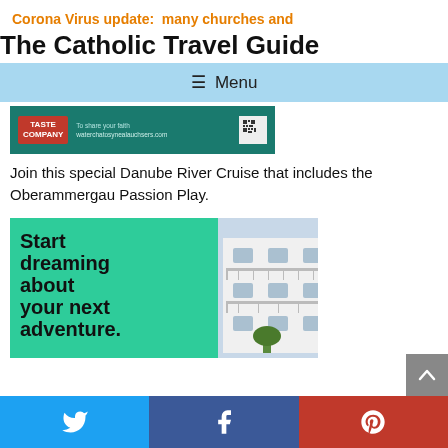Corona Virus update:  many churches and
The Catholic Travel Guide
≡ Menu
[Figure (screenshot): Green advertisement banner for a pilgrimage/travel company with logo and QR code]
Join this special Danube River Cruise that includes the Oberammergau Passion Play.
[Figure (advertisement): Travel advertisement with teal/green background reading 'Start dreaming about your next adventure.' with a photo of a white building with balcony]
Twitter | Facebook | Pinterest social share bar